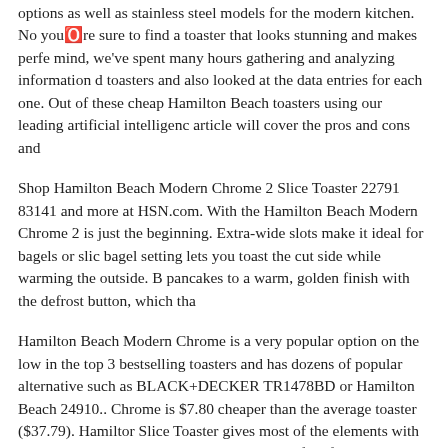options as well as stainless steel models for the modern kitchen. No youBT™re sure to find a toaster that looks stunning and makes perfe mind, we've spent many hours gathering and analyzing information d toasters and also looked at the data entries for each one. Out of these cheap Hamilton Beach toasters using our leading artificial intelligenc article will cover the pros and cons and
Shop Hamilton Beach Modern Chrome 2 Slice Toaster 22791 83141 and more at HSN.com. With the Hamilton Beach Modern Chrome 2 is just the beginning. Extra-wide slots make it ideal for bagels or slic bagel setting lets you toast the cut side while warming the outside. B pancakes to a warm, golden finish with the defrost button, which tha
Hamilton Beach Modern Chrome is a very popular option on the low in the top 3 bestselling toasters and has dozens of popular alternative such as BLACK+DECKER TR1478BD or Hamilton Beach 24910.. Chrome is $7.80 cheaper than the average toaster ($37.79). Hamiltor Slice Toaster gives most of the elements with an impressive discount bargain. It holds manifold features including hamiton beach, 2-Slice